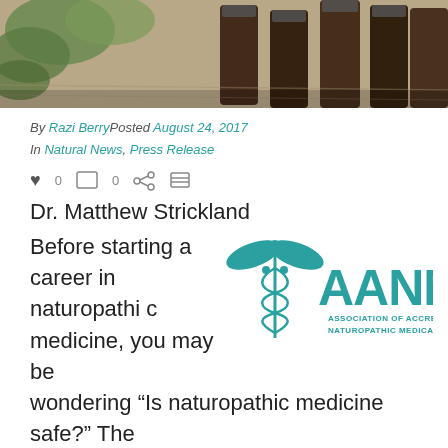[Figure (photo): Photo of dark amber glass bottles with green leaves/herbs on a wooden surface]
By Razi Berry Posted August 24, 2017
In Natural News, Press Release
0   0
Dr. Matthew Strickland
[Figure (logo): AANMC - Association of Accredited Naturopathic Medical Colleges logo in teal with caduceus symbol]
Before starting a career in naturopathic medicine, you may be wondering "Is naturopathic medicine safe?" The